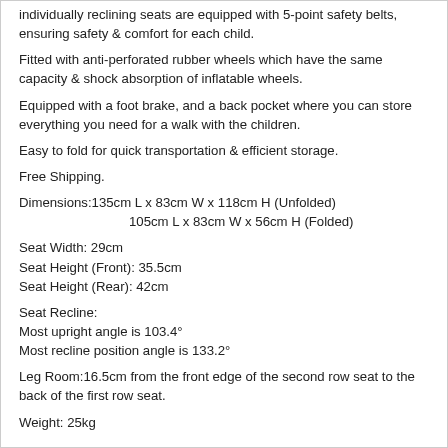Individually reclining seats are equipped with 5-point safety belts, ensuring safety & comfort for each child.
Fitted with anti-perforated rubber wheels which have the same capacity & shock absorption of inflatable wheels.
Equipped with a foot brake, and a back pocket where you can store everything you need for a walk with the children.
Easy to fold for quick transportation & efficient storage.
Free Shipping.
Dimensions:135cm L x 83cm W x 118cm H (Unfolded)
105cm L x 83cm W x 56cm H (Folded)
Seat Width: 29cm
Seat Height (Front): 35.5cm
Seat Height (Rear): 42cm
Seat Recline:
Most upright angle is 103.4°
Most recline position angle is 133.2°
Leg Room:16.5cm from the front edge of the second row seat to the back of the first row seat.
Weight: 25kg